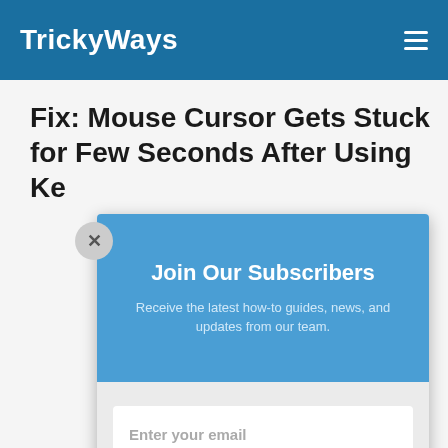TrickyWays
Fix: Mouse Cursor Gets Stuck for Few Seconds After Using Keyboard
[Figure (screenshot): A modal popup overlay with a blue header section titled 'Join Our Subscribers' and a gray form section with an email input field and Subscribe button. A circular close (X) button is visible at the top-left corner of the modal.]